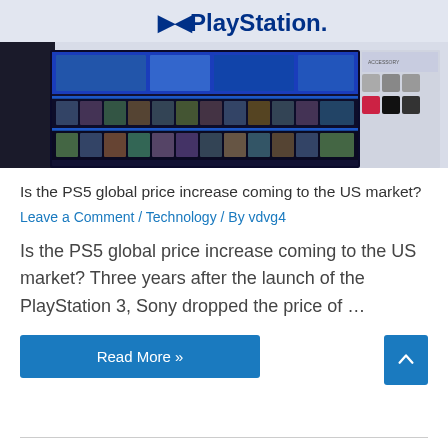[Figure (photo): Interior of a PlayStation store showing a wall display with game covers arranged on blue-lit shelves, PS5 console displays, and PlayStation branding/logo at the top.]
Is the PS5 global price increase coming to the US market?
Leave a Comment / Technology / By vdvg4
Is the PS5 global price increase coming to the US market? Three years after the launch of the PlayStation 3, Sony dropped the price of …